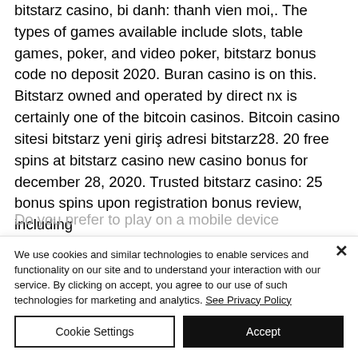bitstarz casino, bi danh: thanh vien moi,. The types of games available include slots, table games, poker, and video poker, bitstarz bonus code no deposit 2020. Buran casino is on this. Bitstarz owned and operated by direct nx is certainly one of the bitcoin casinos. Bitcoin casino sitesi bitstarz yeni giriş adresi bitstarz28. 20 free spins at bitstarz casino new casino bonus for december 28, 2020. Trusted bitstarz casino: 25 bonus spins upon registration bonus review, including
Do you prefer to play on a mobile device
We use cookies and similar technologies to enable services and functionality on our site and to understand your interaction with our service. By clicking on accept, you agree to our use of such technologies for marketing and analytics. See Privacy Policy